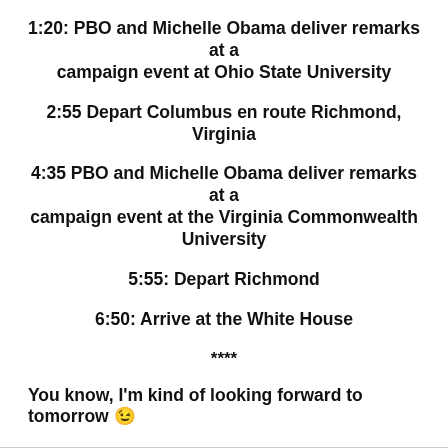1:20: PBO and Michelle Obama deliver remarks at a campaign event at Ohio State University
2:55 Depart Columbus en route Richmond, Virginia
4:35 PBO and Michelle Obama deliver remarks at a campaign event at the Virginia Commonwealth University
5:55: Depart Richmond
6:50: Arrive at the White House
****
You know, I'm kind of looking forward to tomorrow 😉
May 4, 2012